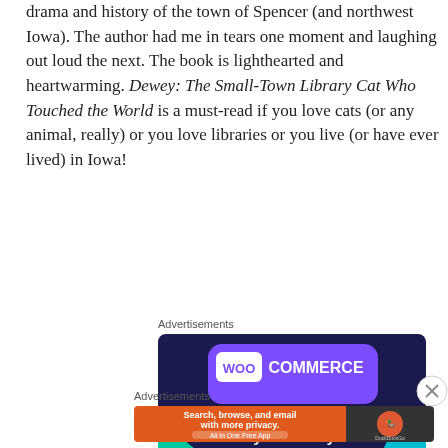drama and history of the town of Spencer (and northwest Iowa). The author had me in tears one moment and laughing out loud the next. The book is lighthearted and heartwarming. Dewey: The Small-Town Library Cat Who Touched the World is a must-read if you love cats (or any animal, really) or you love libraries or you live (or have ever lived) in Iowa!
Advertisements
[Figure (other): WooCommerce advertisement: Turn your hobby into a business in 8 steps]
Advertisements
[Figure (other): DuckDuckGo advertisement: Search, browse, and email with more privacy. All in One Free App]